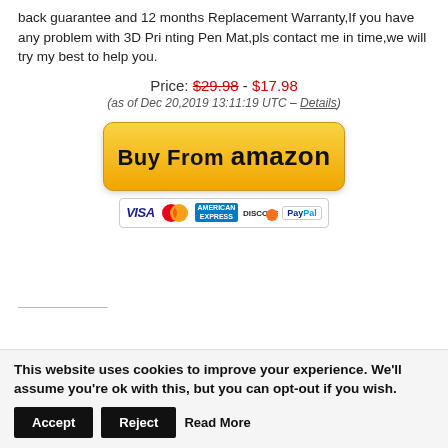back guarantee and 12 months Replacement Warranty,If you have any problem with 3D Pri nting Pen Mat,pls contact me in time,we will try my best to help you.
Price: $29.98 - $17.98
(as of Dec 20,2019 13:11:19 UTC – Details)
[Figure (other): Buy From Amazon button with payment icons: VISA, MasterCard, American Express, Discover, PayPal]
This website uses cookies to improve your experience. We'll assume you're ok with this, but you can opt-out if you wish.